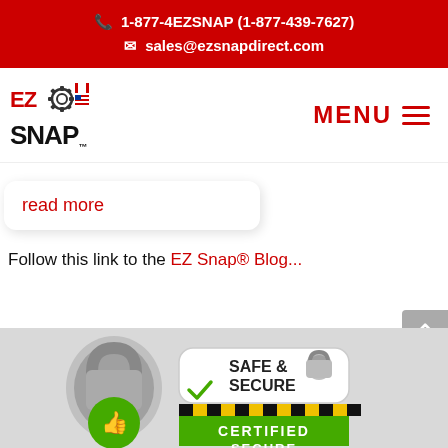1-877-4EZSNAP (1-877-439-7627)
sales@ezsnapdirect.com
[Figure (logo): EZ Snap logo with gear icon and Canadian/US flags]
MENU
read more
Follow this link to the EZ Snap® Blog...
[Figure (illustration): Safe & Secure Certified Secure badge with padlock and thumbs up]